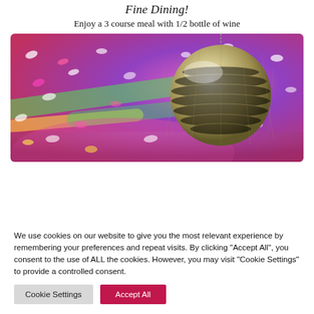Fine Dining!
Enjoy a 3 course meal with 1/2 bottle of wine
[Figure (photo): A shiny disco mirror ball hanging from the ceiling, surrounded by colorful light reflections (purple, pink, green, yellow, red) scattered across the background. The ball is metallic and faceted, photographed close up.]
We use cookies on our website to give you the most relevant experience by remembering your preferences and repeat visits. By clicking “Accept All”, you consent to the use of ALL the cookies. However, you may visit “Cookie Settings” to provide a controlled consent.